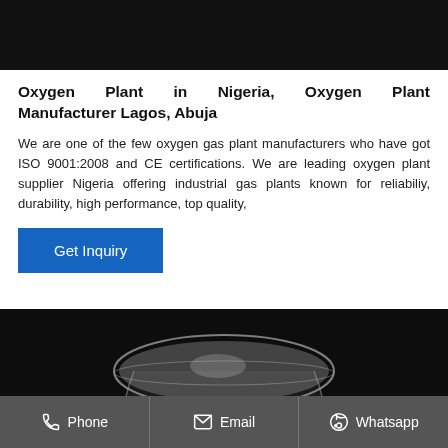[Figure (photo): Dark background image at top of page (partial, cropped)]
Oxygen Plant in Nigeria, Oxygen Plant Manufacturer Lagos, Abuja
We are one of the few oxygen gas plant manufacturers who have got ISO 9001:2008 and CE certifications. We are leading oxygen plant supplier Nigeria offering industrial gas plants known for reliabiliy, durability, high performance, top quality,
[Figure (photo): Photo of a glass beaker or flask on a dark background]
Phone   Email   Whatsapp